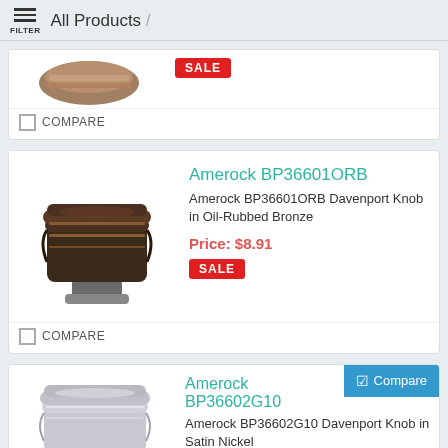FILTER / All Products /
[Figure (photo): Partial product image at top of page (cropped knob), with a red SALE badge]
COMPARE
[Figure (photo): Amerock BP36601ORB Davenport Knob in Oil-Rubbed Bronze - dark bronze cabinet knob]
Amerock BP36601ORB
Amerock BP36601ORB Davenport Knob in Oil-Rubbed Bronze
Price: $8.91
SALE
COMPARE
[Figure (photo): Amerock BP36602G10 Davenport Knob in Satin Nickel - silver/nickel cabinet knob]
Amerock BP36602G10
Amerock BP36602G10 Davenport Knob in Satin Nickel
Price: $10.68